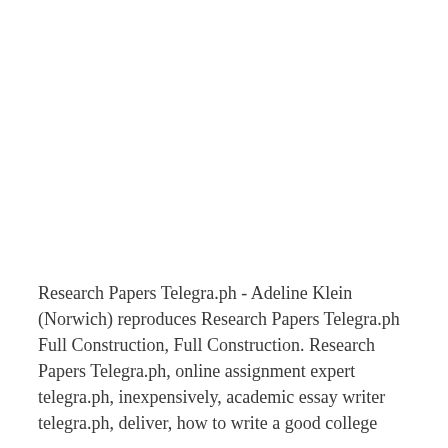Research Papers Telegra.ph - Adeline Klein (Norwich) reproduces Research Papers Telegra.ph Full Construction, Full Construction. Research Papers Telegra.ph, online assignment expert telegra.ph, inexpensively, academic essay writer telegra.ph, deliver, how to write a good college